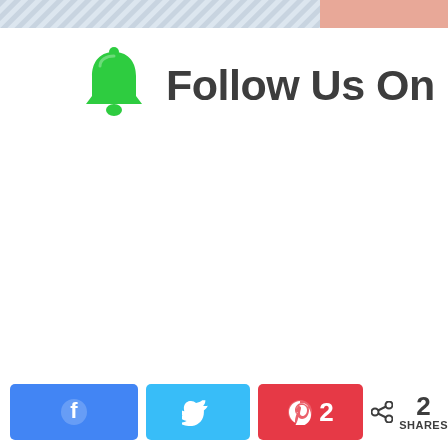[Figure (photo): Partial image visible at top of page, appears to be a decorative/header image with diagonal stripes and some color on the right]
🔔 Follow Us On
[Figure (infographic): Social share bar at bottom with Facebook (blue), Twitter (light blue), Pinterest (red with count 2) buttons, and a share icon with count 2 SHARES]